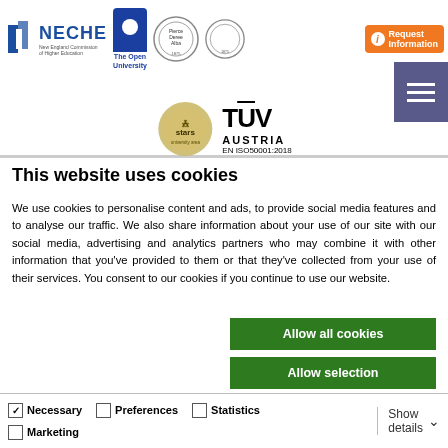[Figure (logo): University accreditation logos: NECHE, Open University, American College of Greece seals, TUV Austria EN ISO50001:2018 certification, stars logo, Request Information button, and hamburger menu]
This website uses cookies
We use cookies to personalise content and ads, to provide social media features and to analyse our traffic. We also share information about your use of our site with our social media, advertising and analytics partners who may combine it with other information that you've provided to them or that they've collected from your use of their services. You consent to our cookies if you continue to use our website.
Allow all cookies
Allow selection
Use necessary cookies only
Necessary  Preferences  Statistics  Marketing  Show details